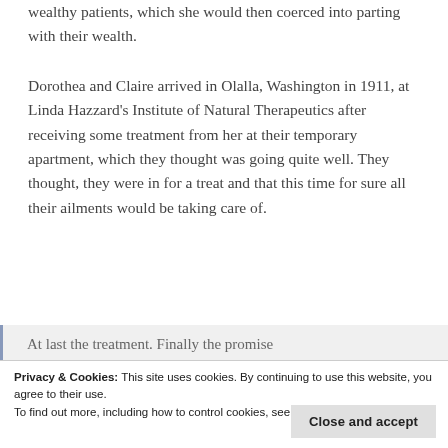wealthy patients, which she would then coerced into parting with their wealth.
Dorothea and Claire arrived in Olalla, Washington in 1911, at Linda Hazzard's Institute of Natural Therapeutics after receiving some treatment from her at their temporary apartment, which they thought was going quite well. They thought, they were in for a treat and that this time for sure all their ailments would be taking care of.
At last the treatment. Finally the promise
Privacy & Cookies: This site uses cookies. By continuing to use this website, you agree to their use.
To find out more, including how to control cookies, see here: Cookie Policy